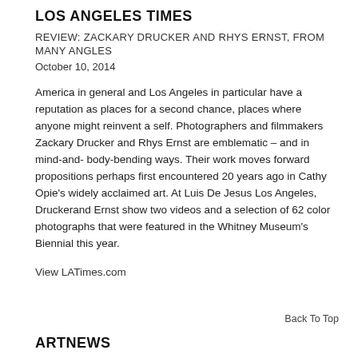LOS ANGELES TIMES
REVIEW: ZACKARY DRUCKER AND RHYS ERNST, FROM MANY ANGLES
October 10, 2014
America in general and Los Angeles in particular have a reputation as places for a second chance, places where anyone might reinvent a self. Photographers and filmmakers Zackary Drucker and Rhys Ernst are emblematic – and in mind-and- body-bending ways. Their work moves forward propositions perhaps first encountered 20 years ago in Cathy Opie's widely acclaimed art. At Luis De Jesus Los Angeles, Druckerand Ernst show two videos and a selection of 62 color photographs that were featured in the Whitney Museum's Biennial this year.
View LATimes.com
Back To Top
ARTNEWS